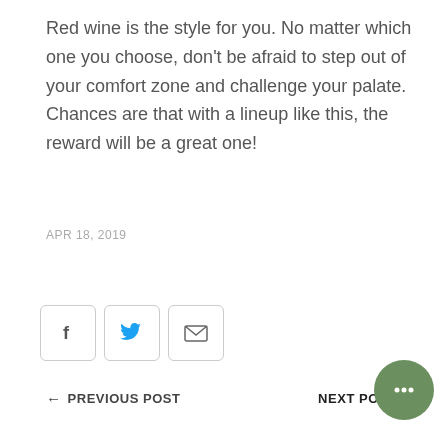Red wine is the style for you. No matter which one you choose, don't be afraid to step out of your comfort zone and challenge your palate. Chances are that with a lineup like this, the reward will be a great one!
APR 18, 2019
[Figure (other): Social share buttons: Facebook, Twitter, Email]
← PREVIOUS POST    NEXT POST →
INFO
FAQs